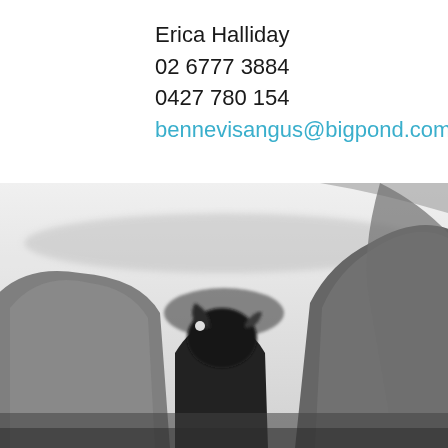Erica Halliday
02 6777 3884
0427 780 154
bennevisangus@bigpond.com
[Figure (photo): Black and white photograph of Angus cattle viewed from behind, closely grouped together, filling the bottom portion of the image.]